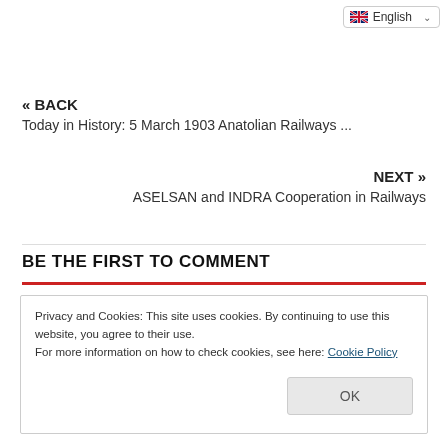English (language selector)
« BACK
Today in History: 5 March 1903 Anatolian Railways ...
NEXT »
ASELSAN and INDRA Cooperation in Railways
BE THE FIRST TO COMMENT
Privacy and Cookies: This site uses cookies. By continuing to use this website, you agree to their use.
For more information on how to check cookies, see here: Cookie Policy